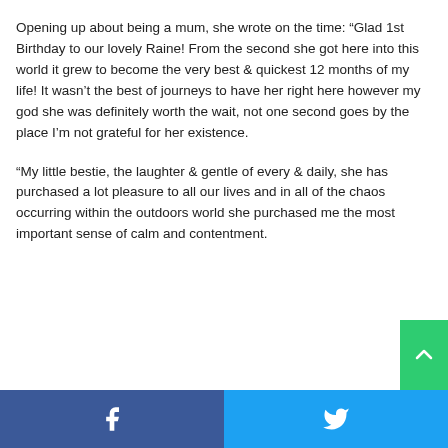Opening up about being a mum, she wrote on the time: “Glad 1st Birthday to our lovely Raine! From the second she got here into this world it grew to become the very best & quickest 12 months of my life! It wasn’t the best of journeys to have her right here however my god she was definitely worth the wait, not one second goes by the place I’m not grateful for her existence.
“My little bestie, the laughter & gentle of every & daily, she has purchased a lot pleasure to all our lives and in all of the chaos occurring within the outdoors world she purchased me the most important sense of calm and contentment.
Facebook | Twitter